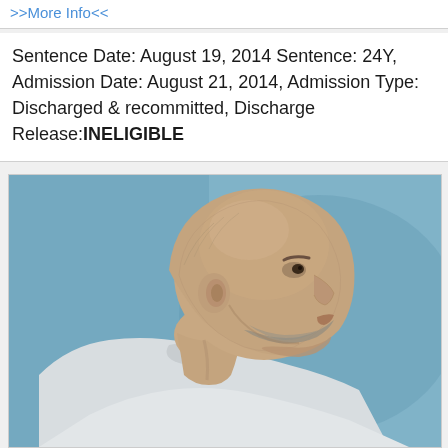>>More Info<<
Sentence Date: August 19, 2014 Sentence: 24Y, Admission Date: August 21, 2014, Admission Type: Discharged & recommitted, Discharge Release:INELIGIBLE
[Figure (photo): Side profile photograph of a bald heavyset man with a short beard, wearing a light-colored shirt, against a blue background.]